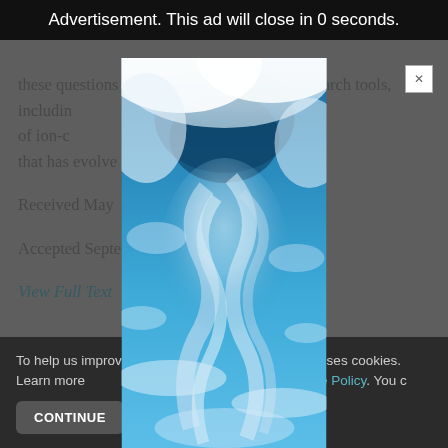Advertisement. This ad will close in 0 seconds.
these questions are needed and modern search tools, including studies of ion-c s puzzle that has evolve .
Received May
Accepted Septe
View Full Text
[Figure (photo): Advertisement overlay showing a sky with blue tones and white wispy clouds, displayed as a tall vertical modal popup over the page content.]
To help us improve y his website uses cookies. Learn more your settings in our Cookie Policy. You c
CONTINUE   FIND